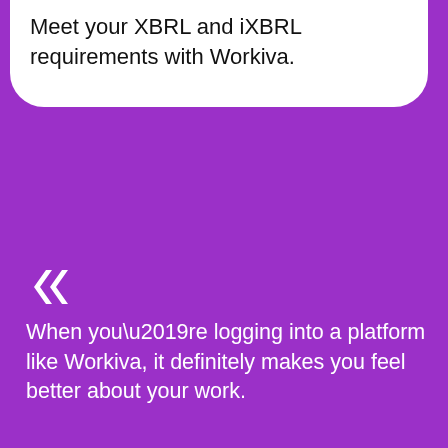Meet your XBRL and iXBRL requirements with Workiva.
[Figure (illustration): Decorative double quote mark icon in dark color on white background]
When you’re logging into a platform like Workiva, it definitely makes you feel better about your work.